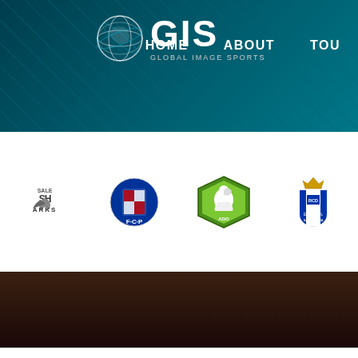[Figure (screenshot): Global Image Sports (GIS) website header with dark teal background, globe logo, GIS text, and navigation links HOME, ABOUT, TOU]
[Figure (logo): Row of sports club logos: Sale Sharks, FC Porto, ADO Den Haag, RCD Espanyol de Barcelona]
[Figure (photo): Dark brown banner image, partially visible]
Our website uses various cookies.
Our website uses various cookies. A cookie is a small file of letters and numbers that we store on your browser or the hard drive of your computer if you agree. Cookies contain information that is transferred to your computer's hard drive. They are used to distinguish you from other users of our website, which helps us to provide you with a good experience when you browse our website and also allows us to improve our site... Read more
ACCEPT & CONTINUE